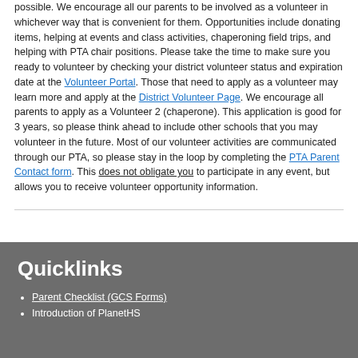possible.  We encourage all our parents to be involved as a volunteer in whichever way that is convenient for them.  Opportunities include donating items, helping at events and class activities, chaperoning field trips, and helping with PTA chair positions.   Please take the time to make sure you ready to volunteer by checking your district volunteer status and expiration date at the Volunteer Portal.   Those that need to apply as a volunteer may learn more and apply at the District Volunteer Page.  We encourage all parents to apply as a Volunteer 2 (chaperone).  This application is good for 3 years, so please think ahead to include other schools that you may volunteer in the future.  Most of our volunteer activities are communicated through our PTA, so please stay in the loop by completing the PTA Parent Contact form.  This does not obligate you to participate in any event, but allows you to receive volunteer opportunity information.
Quicklinks
Parent Checklist (GCS Forms)
Introduction of PlanetHS